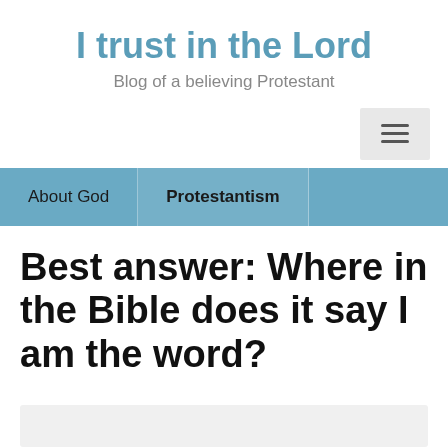I trust in the Lord
Blog of a believing Protestant
About God | Protestantism
Best answer: Where in the Bible does it say I am the word?